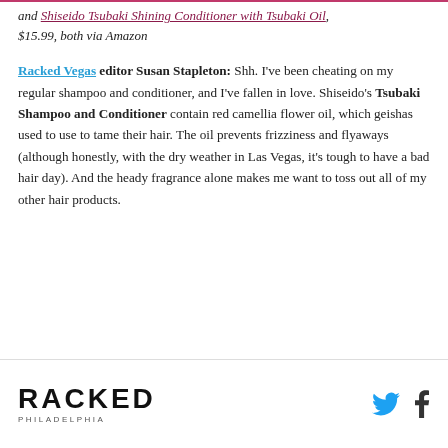and Shiseido Tsubaki Shining Conditioner with Tsubaki Oil, $15.99, both via Amazon
Racked Vegas editor Susan Stapleton: Shh. I've been cheating on my regular shampoo and conditioner, and I've fallen in love. Shiseido's Tsubaki Shampoo and Conditioner contain red camellia flower oil, which geishas used to use to tame their hair. The oil prevents frizziness and flyaways (although honestly, with the dry weather in Las Vegas, it's tough to have a bad hair day). And the heady fragrance alone makes me want to toss out all of my other hair products.
RACKED PHILADELPHIA